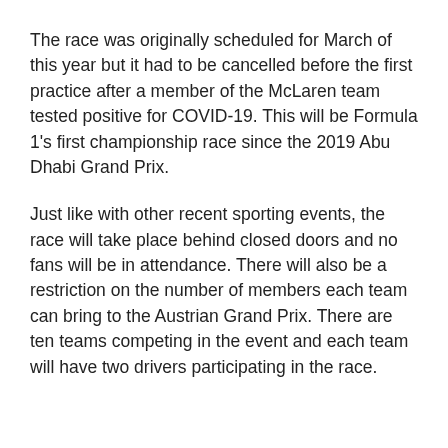The race was originally scheduled for March of this year but it had to be cancelled before the first practice after a member of the McLaren team tested positive for COVID-19. This will be Formula 1's first championship race since the 2019 Abu Dhabi Grand Prix.
Just like with other recent sporting events, the race will take place behind closed doors and no fans will be in attendance. There will also be a restriction on the number of members each team can bring to the Austrian Grand Prix. There are ten teams competing in the event and each team will have two drivers participating in the race.